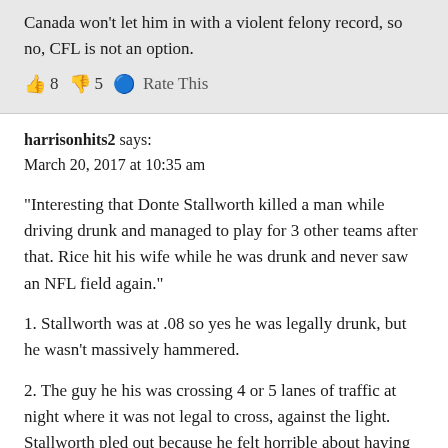Canada won't let him in with a violent felony record, so no, CFL is not an option.
👍 8 👎 5 🔵 Rate This
harrisonhits2 says:
March 20, 2017 at 10:35 am
“Interesting that Donte Stallworth killed a man while driving drunk and managed to play for 3 other teams after that. Rice hit his wife while he was drunk and never saw an NFL field again.”
1. Stallworth was at .08 so yes he was legally drunk, but he wasn’t massively hammered.
2. The guy he his was crossing 4 or 5 lanes of traffic at night where it was not legal to cross, against the light. Stallworth pled out because he felt horrible about having hit the guy, but had he taken it to court he would not have been convicted of vehicular manslaughter, only dui